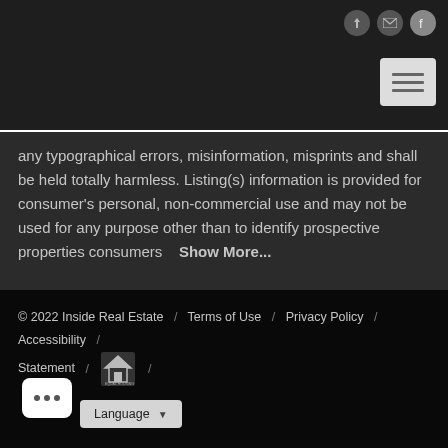[Navigation bar with icons: login, email, Facebook, and hamburger menu]
any typographical errors, misinformation, misprints and shall be held totally harmless. Listing(s) information is provided for consumer's personal, non-commercial use and may not be used for any purpose other than to identify prospective properties consumers   Show More...
© 2022 Inside Real Estate  /  Terms of Use  /  Privacy Policy  /  Accessibility  /  Statement  /  [Equal Housing Logo]  /